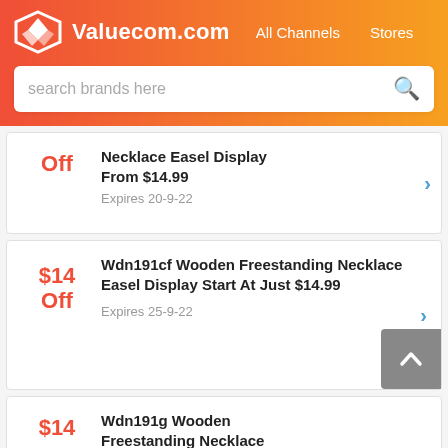Valuecom.com  All Channels  Stores
search brands here
Off | Necklace Easel Display From $14.99 | Expires 20-9-22
$14 Off | Wdn191cf Wooden Freestanding Necklace Easel Display Start At Just $14.99 | Expires 25-9-22
$14 | Wdn191g Wooden Freestanding Necklace